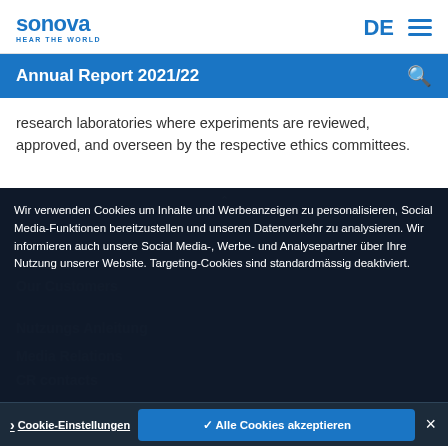sonova HEAR THE WORLD | DE ≡
Annual Report 2021/22
research laboratories where experiments are reviewed, approved, and overseen by the respective ethics committees.
Wir verwenden Cookies um Inhalte und Werbeanzeigen zu personalisieren, Social Media-Funktionen bereitzustellen und unseren Datenverkehr zu analysieren. Wir informieren auch unsere Social Media-, Werbe- und Analysepartner über Ihre Nutzung unserer Website. Targeting-Cookies sind standardmässig deaktiviert.
Media Relations
CR contacts
› Cookie-Einstellungen   ✓ Alle Cookies akzeptieren   ✕